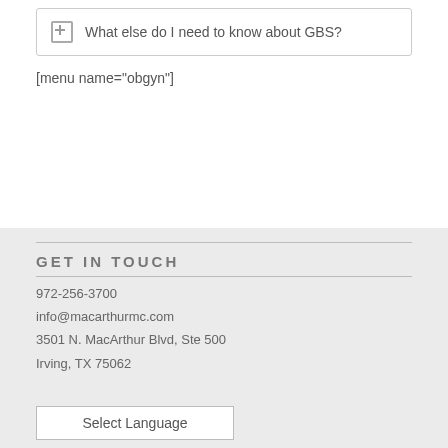What else do I need to know about GBS?
[menu name="obgyn"]
GET IN TOUCH
972-256-3700
info@macarthurmc.com
3501 N. MacArthur Blvd, Ste 500
Irving, TX 75062
Select Language